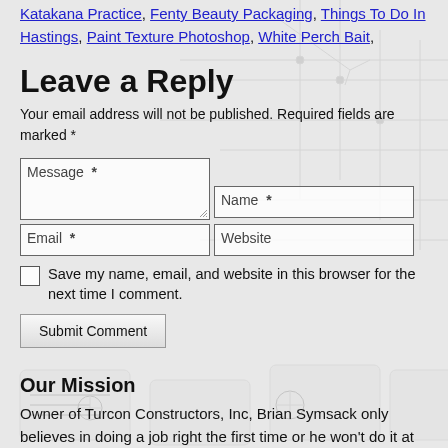Katakana Practice, Fenty Beauty Packaging, Things To Do In Hastings, Paint Texture Photoshop, White Perch Bait,
Leave a Reply
Your email address will not be published. Required fields are marked *
[Figure (other): Web comment form with Message, Name, Email, Website fields, a checkbox for saving info, and a Submit Comment button]
Our Mission
Owner of Turcon Constructors, Inc, Brian Symsack only believes in doing a job right the first time or he won't do it at all. He does